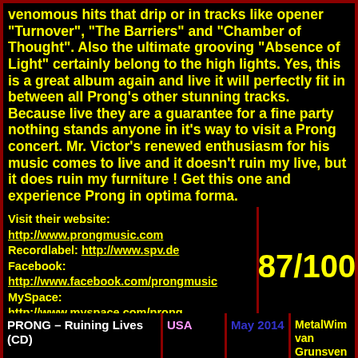venomous hits that drip or in tracks like opener "Turnover", "The Barriers" and "Chamber of Thought". Also the ultimate grooving "Absence of Light" certainly belong to the high lights. Yes, this is a great album again and live it will perfectly fit in between all Prong's other stunning tracks. Because live they are a guarantee for a fine party nothing stands anyone in it's way to visit a Prong concert. Mr. Victor's renewed enthusiasm for his music comes to live and it doesn't ruin my live, but it does ruin my furniture ! Get this one and experience Prong in optima forma.
Visit their website: http://www.prongmusic.com Recordlabel: http://www.spv.de Facebook: http://www.facebook.com/prongmusic MySpace: http://www.myspace.com/prong
87/100
| Album | Country | Date | Reviewer |
| --- | --- | --- | --- |
| PRONG – Ruining Lives (CD) | USA | May 2014 | MetalWim van Grunsven |
| Style: Industrial Metal | Running time: 41:55 (Tracks: 11) |  |  |